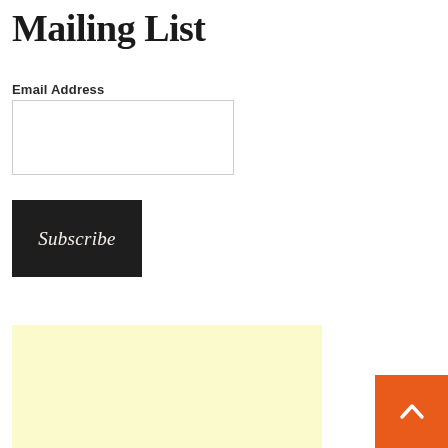Mailing List
Email Address
[Figure (other): Light yellow advertisement placeholder block]
[Figure (other): Orange back-to-top button with white upward chevron arrow]